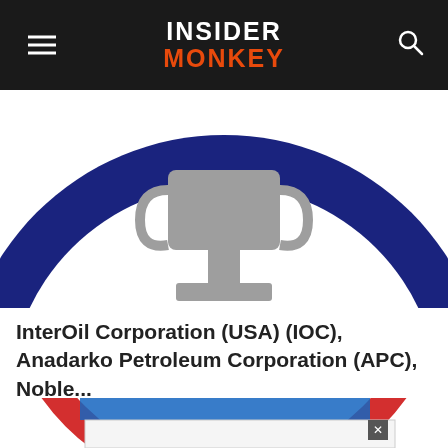INSIDER MONKEY
[Figure (illustration): Blue circle ring logo with a gray trophy/pedestal shape in the center, cropped at the top]
InterOil Corporation (USA) (IOC), Anadarko Petroleum Corporation (APC), Noble...
[Figure (illustration): Red circle ring logo partially visible, with a blue banner overlay and an advertisement overlay box with a close (x) button in the lower portion]